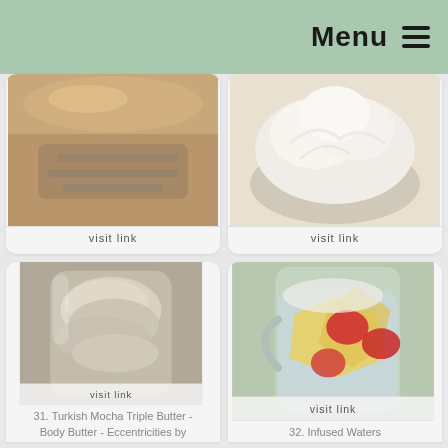Menu ☰
[Figure (photo): Candied citrus fruit on a plate - food photo]
visit link
29. Candied Citrus Fruit | Marilyns Treats
[Figure (photo): Creamy white frosting or whipped cream in a bowl - food photo]
visit link
30. Tip Friday Cutting In aka Creaming - Marilyns Treats
[Figure (photo): Turkish Mocha Triple Butter in a glass jar - food photo]
visit link
31. Turkish Mocha Triple Butter - Body Butter - Eccentricities by
[Figure (photo): Infused water in a glass pitcher with strawberries and pineapple]
visit link
32. Infused Waters